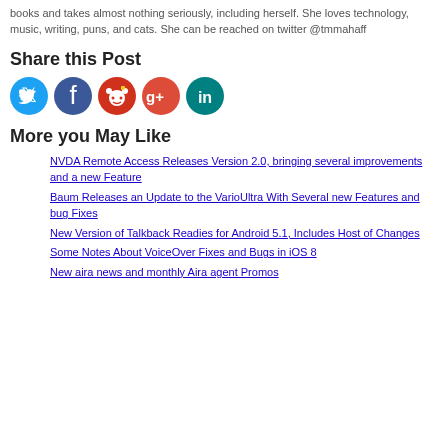books and takes almost nothing seriously, including herself. She loves technology, music, writing, puns, and cats. She can be reached on twitter @tmmahaff
Share this Post
[Figure (illustration): Five social media share buttons: Twitter (light blue circle), Facebook (dark blue circle), Reddit (red circle), Google+ (red-orange circle), LinkedIn (teal circle)]
More you May Like
NVDA Remote Access Releases Version 2.0, bringing several improvements and a new Feature
Baum Releases an Update to the VarioUltra With Several new Features and bug Fixes
New Version of Talkback Readies for Android 5.1, Includes Host of Changes
Some Notes About VoiceOver Fixes and Bugs in iOS 8
New aira news and monthly Aira agent Promos